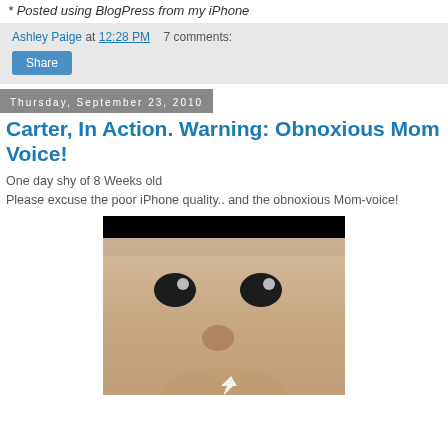* Posted using BlogPress from my iPhone
Ashley Paige at 12:28 PM   7 comments:
Share
Thursday, September 23, 2010
Carter, In Action. Warning: Obnoxious Mom Voice!
One day shy of 8 Weeks old
Please excuse the poor iPhone quality.. and the obnoxious Mom-voice!
[Figure (photo): Close-up photo of a baby's face, approximately 8 weeks old, showing eyes and nose, with a black bar at top and cursor arrow at bottom.]